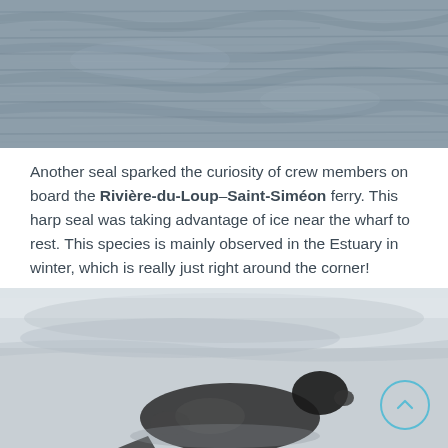[Figure (photo): Aerial or close-up view of choppy grey water surface, cropped at the top of the page]
Another seal sparked the curiosity of crew members on board the Rivière-du-Loup–Saint-Siméon ferry. This harp seal was taking advantage of ice near the wharf to rest. This species is mainly observed in the Estuary in winter, which is really just right around the corner!
[Figure (photo): Black and white photograph of a harp seal resting on ice, with a circular back-to-top navigation button overlaid in the bottom right corner]